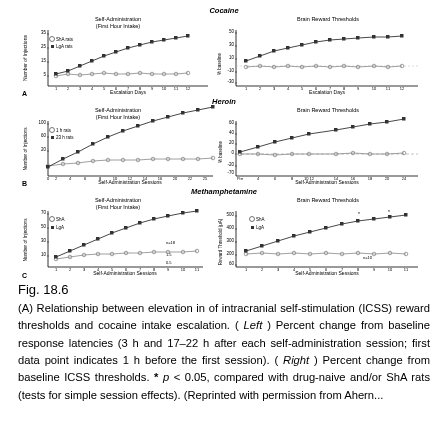[Figure (continuous-plot): Three rows (A, B, C) of paired line charts showing self-administration data (left panels: number of injections first hour intake over escalation days/sessions) and brain reward thresholds (right panels: percent change from baseline) for Cocaine (A), Heroin (B), and Methamphetamine (C). Each panel compares ShA (short access) vs LgA (long access) or control groups with error bars. Open circles = ShA/control; filled squares = LgA/drug group.]
Fig. 18.6
(A) Relationship between elevation in of intracranial self-stimulation (ICSS) reward thresholds and cocaine intake escalation. ( Left ) Percent change from baseline response latencies (3 h and 17–22 h after each self-administration session; first data point indicates 1 h before the first session). ( Right ) Percent change from baseline ICSS thresholds. * p < 0.05, compared with drug-naive and/or ShA rats (tests for simple session effects). (Reprinted with permission from Ahern...